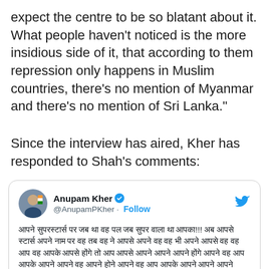expect the centre to be so blatant about it. What people haven't noticed is the more insidious side of it, that according to them repression only happens in Muslim countries, there's no mention of Myanmar and there's no mention of Sri Lanka."
Since the interview has aired, Kher has responded to Shah's comments:
[Figure (screenshot): Embedded tweet from Anupam Kher (@AnupamPKher) with verified badge, Follow button, Twitter bird icon, and tweet body text in Hindi/Devanagari script with emoji.]